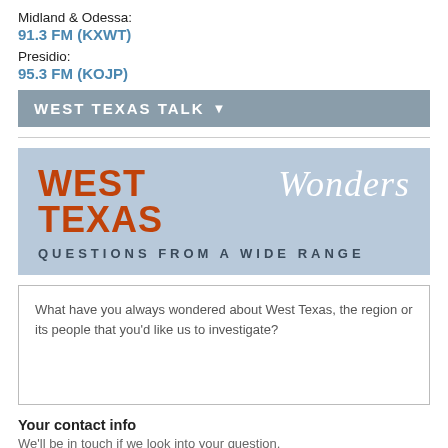Midland & Odessa:
91.3 FM (KXWT)
Presidio:
95.3 FM (KOJP)
WEST TEXAS TALK ▼
[Figure (logo): West Texas Wonders — Questions from a Wide Range banner logo with blue background, orange bold 'WEST TEXAS' and white italic 'Wonders' script, subtitle 'QUESTIONS FROM A WIDE RANGE']
What have you always wondered about West Texas, the region or its people that you'd like us to investigate?
Your contact info
We'll be in touch if we look into your question.